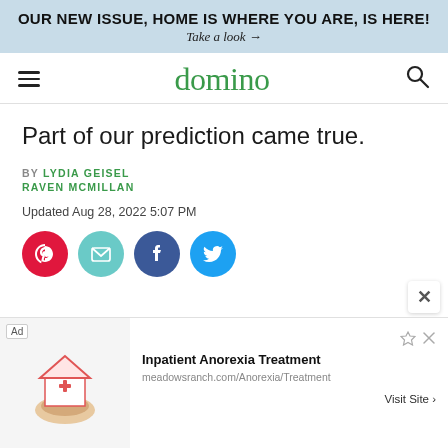OUR NEW ISSUE, HOME IS WHERE YOU ARE, IS HERE!
Take a look →
domino
Part of our prediction came true.
BY LYDIA GEISEL
RAVEN MCMILLAN
Updated Aug 28, 2022 5:07 PM
[Figure (infographic): Social share icons: Pinterest (red), Email (teal), Facebook (dark blue), Twitter (blue)]
[Figure (infographic): Advertisement: Inpatient Anorexia Treatment - meadowsranch.com/Anorexia/Treatment with house/medical cross image. Visit Site button.]